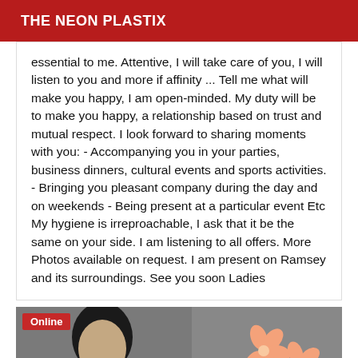THE NEON PLASTIX
essential to me. Attentive, I will take care of you, I will listen to you and more if affinity ... Tell me what will make you happy, I am open-minded. My duty will be to make you happy, a relationship based on trust and mutual respect. I look forward to sharing moments with you: - Accompanying you in your parties, business dinners, cultural events and sports activities. - Bringing you pleasant company during the day and on weekends - Being present at a particular event Etc My hygiene is irreproachable, I ask that it be the same on your side. I am listening to all offers. More Photos available on request. I am present on Ramsey and its surroundings. See you soon Ladies
[Figure (photo): Photo of a person with dark hair, with a floral illustration (pink flowers on stems) on the right side of the image. An 'Online' badge appears in the top-left corner.]